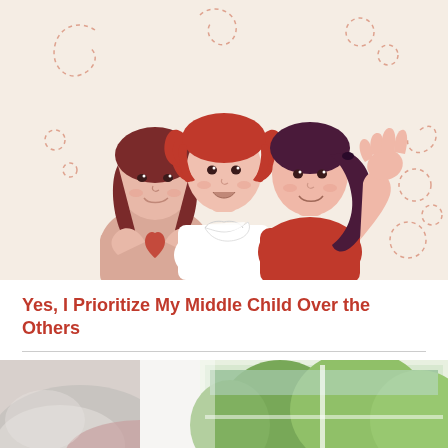[Figure (illustration): Illustration of three girls on a light peach background. Left girl has dark reddish-brown hair and is making a heart shape with her hands. Middle girl has bright red pigtails and wears a white collared dress. Right girl has dark purple-brown hair in a ponytail and is waving with one hand, wearing a red top. Decorative dashed swirl lines in the background.]
Yes, I Prioritize My Middle Child Over the Others
[Figure (photo): Photograph showing a bright interior scene with a grey/white pillow on the left side and a window with green trees visible outside on the right side.]